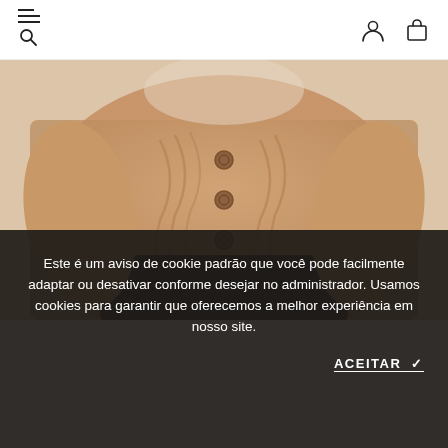Navigation header with hamburger/search menu and user/cart icons
[Figure (photo): Close-up photo of a person wearing a textured beige/camel cable-knit cardigan with round buttons, paired with black trousers. The person's hands are visible at the waist.]
Este é um aviso de cookie padrão que você pode facilmente adaptar ou desativar conforme desejar no administrador. Usamos cookies para garantir que oferecemos a melhor experiência em nosso site.
ACEITAR ✓